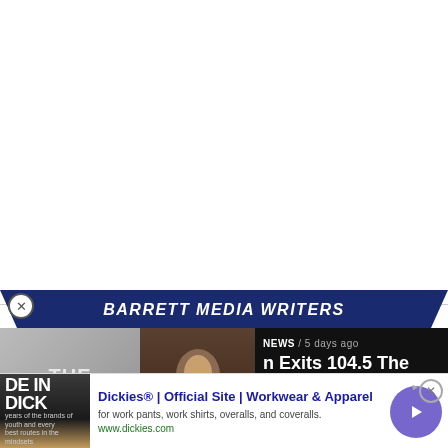[Figure (screenshot): White blank area at top of page]
[Figure (logo): Barrett Media Writers banner with dark navy blue diagonal-cut background and white bold italic text]
[Figure (screenshot): Article section with black background showing The Jason Barrett Podcast logo on left, Jim Rome photo in center with 'JIM ROME GOT NEW PLAYBOOK' text, and article text on right reading 'NEWS / 5 days ago' and 'n Exits 104.5 The Zone']
[Figure (screenshot): Advertisement bar for Dickies showing 'DE IN DICK' thumbnail, 'Dickies® | Official Site | Workwear & Apparel' headline, 'for work pants, work shirts, overalls, and coveralls.' description, 'www.dickies.com' URL, and a purple circular arrow button]